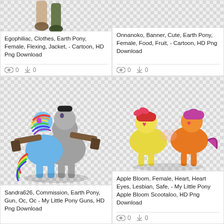[Figure (illustration): Partial view of cartoon pony legs/boots on checkered background]
Egophiliac, Clothes, Earth Pony, Female, Flexing, Jacket, - Cartoon, HD Png Download
0  0
[Figure (illustration): Partial checkered background, top of image cropped]
Onnanoko, Banner, Cute, Earth Pony, Female, Food, Fruit, - Cartoon, HD Png Download
0  0
[Figure (illustration): Cartoon My Little Pony characters Rainbow Dash and a grey pony with guns, on checkered background]
Sandra626, Commission, Earth Pony, Gun, Oc, Oc - My Little Pony Guns, HD Png Download
[Figure (illustration): Apple Bloom and Scootaloo cartoon ponies with heart eyes, on checkered background]
Apple Bloom, Female, Heart, Heart Eyes, Lesbian, Safe, - My Little Pony Apple Bloom Scootaloo, HD Png Download
0  0